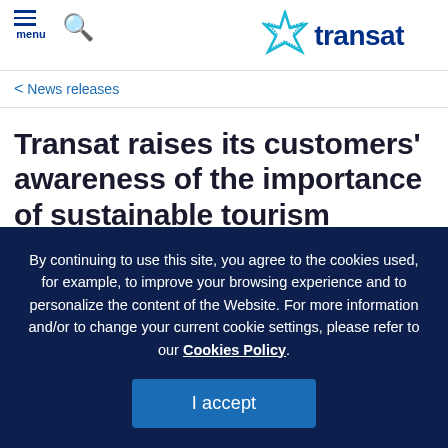menu [search icon] transat
< News releases
Transat raises its customers' awareness of the importance of sustainable tourism
Montreal, May 8, 2018 – Transat A.T. Inc. uses a range of communications tools to enhance customer awareness of the
By continuing to use this site, you agree to the cookies used, for example, to improve your browsing experience and to personalize the content of the Website. For more information and/or to change your current cookie settings, please refer to our Cookies Policy.
I accept